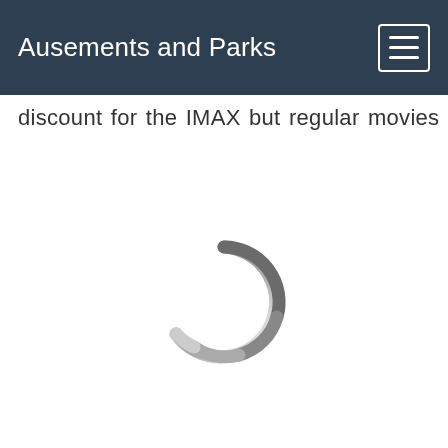Ausements and Parks
discount for the IMAX but regular movies allowed but
[Figure (other): A circular loading spinner graphic, dark grey at the top fading to light grey at the bottom, indicating content is loading.]